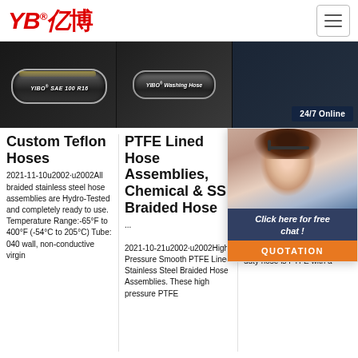[Figure (logo): YB亿博 logo in red italic bold text with registered trademark symbol, hamburger menu button on right]
[Figure (photo): Three product image slots: YIBO SAE 100 R16 braided hose, YIBO Washing Hose, and partial dark image with 24/7 Online badge]
Custom Teflon Hoses
2021-11-10u2002·u2002All braided stainless steel hose assemblies are Hydro-Tested and completely ready to use. Temperature Range:-65°F to 400°F (-54°C to 205°C) Tube: 040 wall, non-conductive virgin
PTFE Lined Hose Assemblies, Chemical & SS Braided Hose
...
2021-10-21u2002·u2002High Pressure Smooth PTFE Lined Stainless Steel Braided Hose Assemblies. These high pressure PTFE
Braided Hose
High Braided Hose Assemblies Thr Temperature Range: -65° to 450°F. Material: PTFE with 304 Stainless Steel Braid. Both Fittings Swivel Until Tightened. This heavy duty hose is PTFE with a
[Figure (photo): Customer service representative with headset smiling, with 'Click here for free chat!' text and orange QUOTATION button]